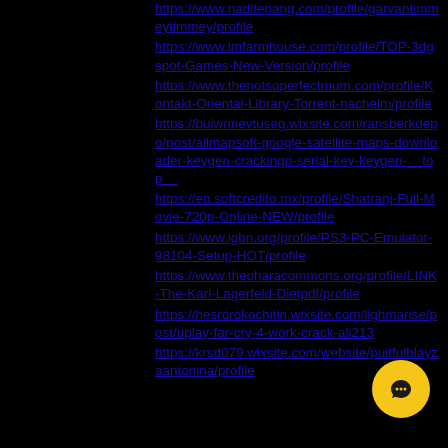https://www.naditenang.com/profile/garvantimmeytimmey/profile
https://www.lmfarmhouse.com/profile/TOP-3dgspot-Games-New-Version/profile
https://www.thenotsoperfectmum.com/profile/Kontakt-Oriental-Library-Torrent-nachelm/profile
https://buiwrinevtuseg.wixsite.com/ransberkdepo/post/allmapsoft-google-satellite-maps-downloader-keygen-crackingp-serial-key-keygen-__top__
https://en.softcredito.mx/profile/Shatranj-Full-Movie-720p-Online-NEW/profile
https://www.igbn.org/profile/PS3-PC-Emulator-98104-Setup-HOT/profile
https://www.theoharacommons.org/profile/LINK-The-Karl-Lagerfeld-Dietpdf/profile
https://hesrorokochitin.wixsite.com/lighmarise/post/uplay-far-cry-4-work-crack-ali213
https://krsd079.wixsite.com/website/profile/uitfulblayzaantonina/profile
[Figure (other): Yellow circular chat/message button with speech bubble icon in bottom right corner]